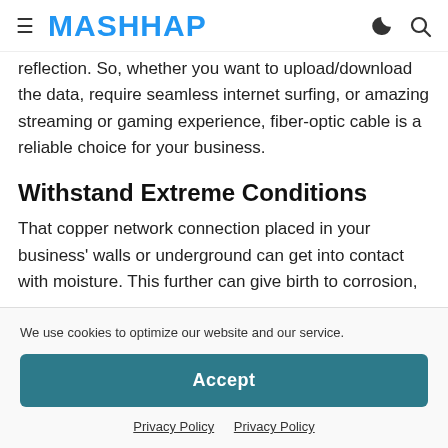≡ MASHHAP 🌙 🔍
reflection. So, whether you want to upload/download the data, require seamless internet surfing, or amazing streaming or gaming experience, fiber-optic cable is a reliable choice for your business.
Withstand Extreme Conditions
That copper network connection placed in your business' walls or underground can get into contact with moisture. This further can give birth to corrosion,
We use cookies to optimize our website and our service.
Accept
Privacy Policy   Privacy Policy